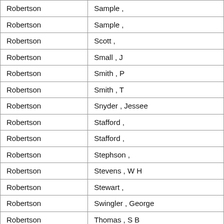| Robertson | Sample , |
| Robertson | Sample , |
| Robertson | Scott , |
| Robertson | Small , J |
| Robertson | Smith , P |
| Robertson | Smith , T |
| Robertson | Snyder , Jessee |
| Robertson | Stafford , |
| Robertson | Stafford , |
| Robertson | Stephson , |
| Robertson | Stevens , W H |
| Robertson | Stewart , |
| Robertson | Swingler , George |
| Robertson | Thomas , S B |
| Robertson | Thomas , William |
| Robertson | Thompson , Hew |
| Robertson | Towler , J M |